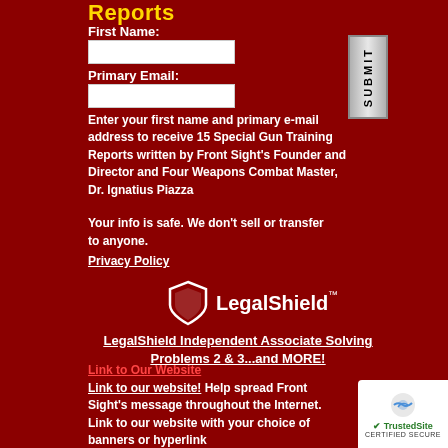Reports
First Name:
Primary Email:
Enter your first name and primary e-mail address to receive 15 Special Gun Training Reports written by Front Sight's Founder and Director and Four Weapons Combat Master, Dr. Ignatius Piazza
Your info is safe. We don't sell or transfer to anyone. Privacy Policy
[Figure (logo): LegalShield logo with shield icon and LegalShield wordmark in white on dark red background]
LegalShield Independent Associate Solving Problems 2 & 3...and MORE!
Link to Our Website
Link to our website! Help spread Front Sight's message throughout the Internet. Link to our website with your choice of banners or hyperlink
[Figure (logo): TrustedSite Certified Secure badge with reCAPTCHA icon and green checkmark]